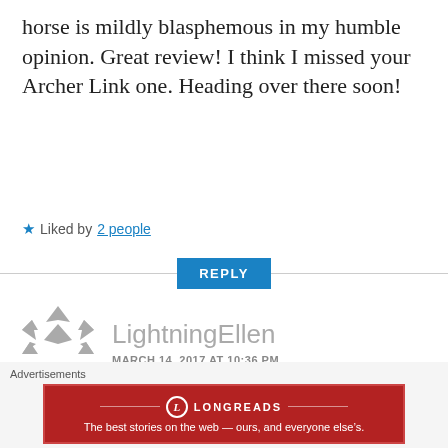horse is mildly blasphemous in my humble opinion. Great review! I think I missed your Archer Link one. Heading over there soon!
Liked by 2 people
REPLY
[Figure (logo): LightningEllen user avatar - grey geometric snowflake/star logo]
LightningEllen
MARCH 14, 2017 AT 10:36 PM
Amiibo addiction starts with “just one”. Don’t say I didn’t warn you when you find
Advertisements
[Figure (other): Longreads advertisement banner - red background with logo and text: The best stories on the web — ours, and everyone else’s.]